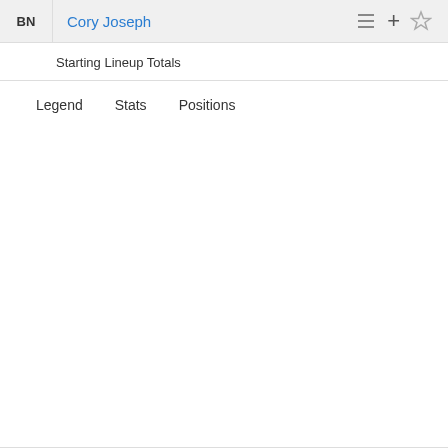BN  Cory Joseph
Starting Lineup Totals
Legend   Stats   Positions